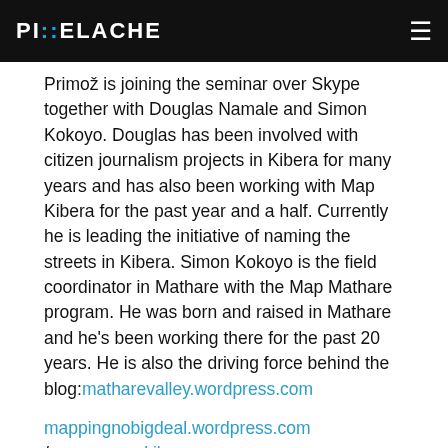PIXELACHE
Primož is joining the seminar over Skype together with Douglas Namale and Simon Kokoyo. Douglas has been involved with citizen journalism projects in Kibera for many years and has also been working with Map Kibera for the past year and a half. Currently he is leading the initiative of naming the streets in Kibera. Simon Kokoyo is the field coordinator in Mathare with the Map Mathare program. He was born and raised in Mathare and he's been working there for the past 20 years. He is also the driving force behind the blog: matharevalley.wordpress.com
mappingnobigdeal.wordpress.com /    www.mapkibera.org
Tapio Mäkelä (FI), Ecocaching
In his presentation Finnish media artist Tapio Mäkelä will mainly focus on his latest project Ecocaching (http://ecocaching.net), a locative game exploring ecology in cities. Players search boxes called ecocaches hidden in city space according to GPS location